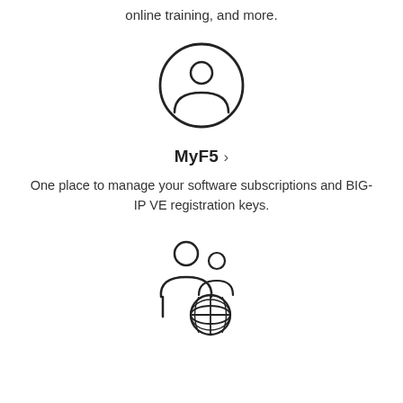online training, and more.
[Figure (illustration): Circle icon with a person/user silhouette inside]
MyF5 ›
One place to manage your software subscriptions and BIG-IP VE registration keys.
[Figure (illustration): Two people figures with a globe/world icon, representing partner or community portal]